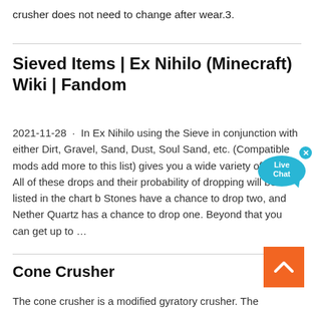crusher does not need to change after wear.3.
Sieved Items | Ex Nihilo (Minecraft) Wiki | Fandom
2021-11-28 · In Ex Nihilo using the Sieve in conjunction with either Dirt, Gravel, Sand, Dust, Soul Sand, etc. (Compatible mods add more to this list) gives you a wide variety of drops. All of these drops and their probability of dropping will be listed in the chart b Stones have a chance to drop two, and Nether Quartz has a chance to drop one. Beyond that you can get up to …
Cone Crusher
The cone crusher is a modified gyratory crusher. The